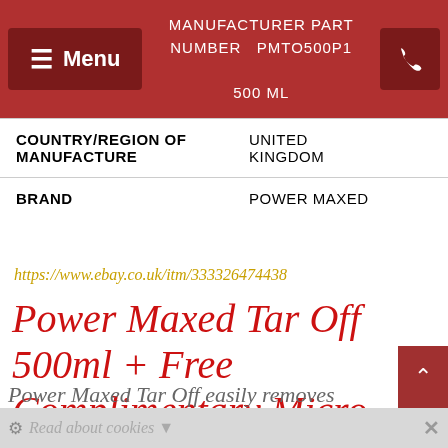MANUFACTURER PART NUMBER PMTO500P1 500 ML
| COUNTRY/REGION OF MANUFACTURE | UNITED KINGDOM |
| BRAND | POWER MAXED |
https://www.ebay.co.uk/itm/333326474438
Power Maxed Tar Off 500ml + Free Complimentary Micro fibre Cloth and Shampoo & Ultra Wax Sachet.
Power Maxed Tar Off easily removes